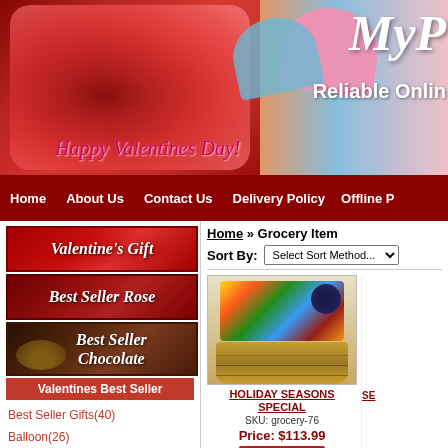[Figure (photo): Website banner with red roses on left, Valentine heart decorations, text 'Reliable Online' and 'Happy Valentines Day!' on orange/coral background]
Home   About Us   Contact Us   Delivery Policy   Offline P
[Figure (photo): Valentine's Gift red banner button with hearts background]
[Figure (photo): Best Seller Rose red banner button]
[Figure (photo): Best Seller Chocolate dark banner button]
Valentines Best Seller
Best Seller Gifts(40)
Balloon(26)
Carnation(13)
Home » Grocery Item
Sort By: Select Sort Method...
[Figure (photo): Holiday Seasons Special gift basket filled with various grocery items, snacks, and treats in a wicker basket]
HOLIDAY SEASONS SPECIAL
SKU: grocery-76
Price: $113.99
Add To Cart